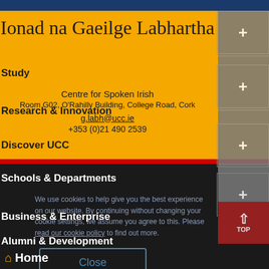Ionad na Gaeilge Labhartha
Study
Centre for Spoken Irish
Room G02, O'Rahilly Building, College Road, Cork
g.labh@ucc.ie
+353 (0)21 490 2539
Research & Innovation
Discover UCC
Schools & Departments
Business & Enterprise
Alumni & Development
We use cookies to help give you the best experience on our website. By continuing without changing your cookie settings, we assume you agree to this. Please read our cookie policy to find out more.
Close
Home